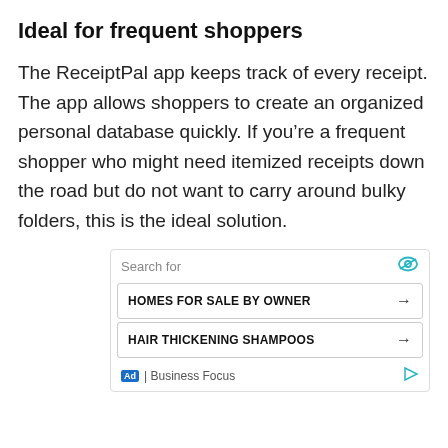Ideal for frequent shoppers
The ReceiptPal app keeps track of every receipt. The app allows shoppers to create an organized personal database quickly. If you’re a frequent shopper who might need itemized receipts down the road but do not want to carry around bulky folders, this is the ideal solution.
[Figure (other): Advertisement box with 'Search for' label, eye icon, two search result items ('HOMES FOR SALE BY OWNER' and 'HAIR THICKENING SHAMPOOS') each with an arrow, and a footer with 'Ad | Business Focus' and a play icon.]